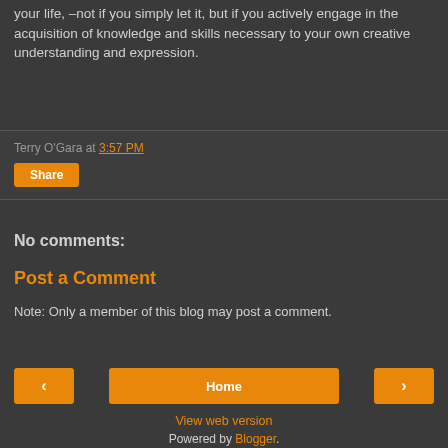your life, –not if you simply let it, but if you actively engage in the acquisition of knowledge and skills necessary to your own creative understanding and expression.
Terry O'Gara at 3:57 PM
Share
No comments:
Post a Comment
Note: Only a member of this blog may post a comment.
‹
Home
›
View web version
Powered by Blogger.